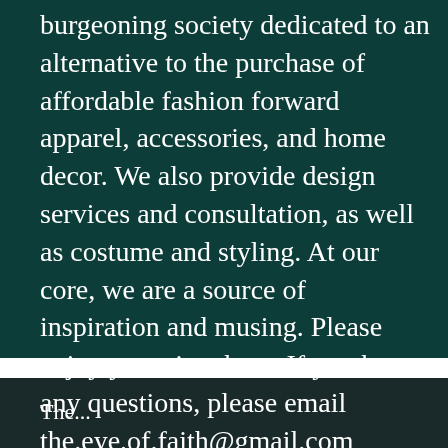burgeoning society dedicated to an alternative to the purchase of affordable fashion forward apparel, accessories, and home decor. We also provide design services and consultation, as well as costume and styling. At our core, we are a source of inspiration and musing. Please enjoy your time here. If you have any questions, please email the.eye.of.faith@gmail.com
The...